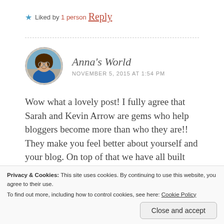★ Liked by 1 person
Reply
Anna's World
NOVEMBER 5, 2015 AT 1:54 PM
Wow what a lovely post! I fully agree that Sarah and Kevin Arrow are gems who help bloggers become more than who they are!! They make you feel better about yourself and your blog. On top of that we have all built friendships
Privacy & Cookies: This site uses cookies. By continuing to use this website, you agree to their use.
To find out more, including how to control cookies, see here: Cookie Policy